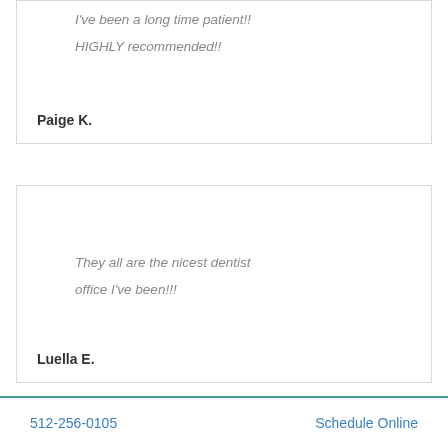I've been a long time patient!! HIGHLY recommended!!
Paige K.
They all are the nicest dentist office I've been!!!
Luella E.
512-256-0105    Schedule Online